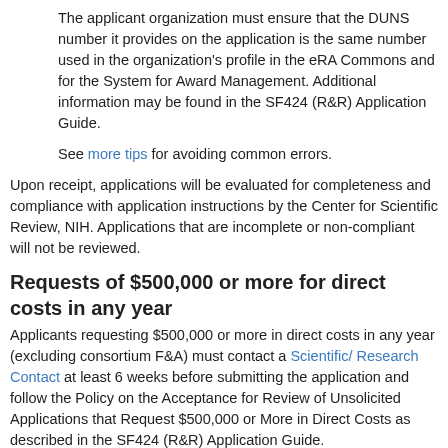The applicant organization must ensure that the DUNS number it provides on the application is the same number used in the organization's profile in the eRA Commons and for the System for Award Management. Additional information may be found in the SF424 (R&R) Application Guide.
See more tips for avoiding common errors.
Upon receipt, applications will be evaluated for completeness and compliance with application instructions by the Center for Scientific Review, NIH. Applications that are incomplete or non-compliant will not be reviewed.
Requests of $500,000 or more for direct costs in any year
Applicants requesting $500,000 or more in direct costs in any year (excluding consortium F&A) must contact a Scientific/ Research Contact at least 6 weeks before submitting the application and follow the Policy on the Acceptance for Review of Unsolicited Applications that Request $500,000 or More in Direct Costs as described in the SF424 (R&R) Application Guide.
Post Submission Materials
Applicants are required to follow the instructions for post-submission